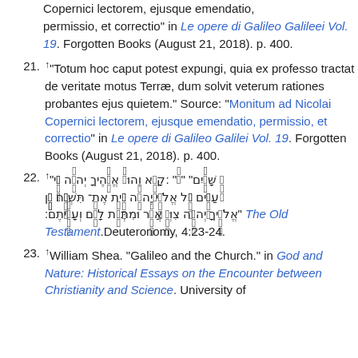(continuation) permissio, et correctio" in Le opere di Galileo Galilei Vol. 19. Forgotten Books (August 21, 2018). p. 400.
21. ↑ "Totum hoc caput potest expungi, quia ex professo tractat de veritate motus Terrae, dum solvit veterum rationes probantes ejus quietem." Source: "Monitum ad Nicolai Copernici lectorem, ejusque emendatio, permissio, et correctio" in Le opere di Galileo Galilei Vol. 19. Forgotten Books (August 21, 2018). p. 400.
22. ↑ [Hebrew text] The Old Testament. Deuteronomy, 4:23-24.
23. ↑ William Shea. "Galileo and the Church." in God and Nature: Historical Essays on the Encounter between Christianity and Science. University of